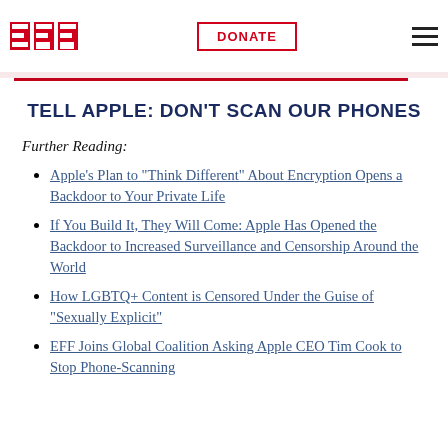EFF | DONATE | menu
TELL APPLE: DON'T SCAN OUR PHONES
Further Reading:
Apple's Plan to "Think Different" About Encryption Opens a Backdoor to Your Private Life
If You Build It, They Will Come: Apple Has Opened the Backdoor to Increased Surveillance and Censorship Around the World
How LGBTQ+ Content is Censored Under the Guise of "Sexually Explicit"
EFF Joins Global Coalition Asking Apple CEO Tim Cook to Stop Phone-Scanning